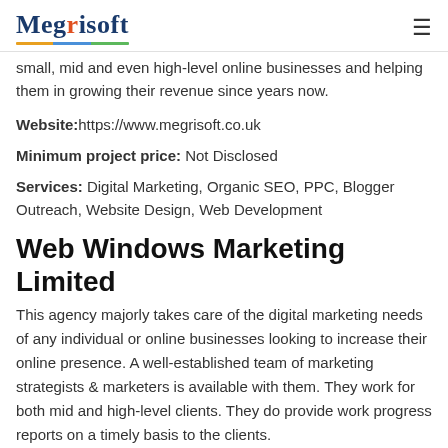Megrisoft
small, mid and even high-level online businesses and helping them in growing their revenue since years now.
Website:https://www.megrisoft.co.uk
Minimum project price: Not Disclosed
Services: Digital Marketing, Organic SEO, PPC, Blogger Outreach, Website Design, Web Development
Web Windows Marketing Limited
This agency majorly takes care of the digital marketing needs of any individual or online businesses looking to increase their online presence. A well-established team of marketing strategists & marketers is available with them. They work for both mid and high-level clients. They do provide work progress reports on a timely basis to the clients.